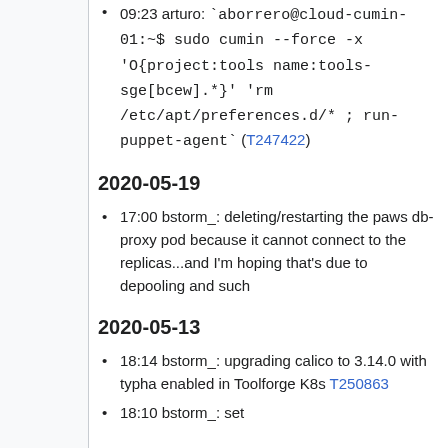09:23 arturo: `aborrero@cloud-cumin-01:~$ sudo cumin --force -x 'O{project:tools name:tools-sge[bcew].*}' 'rm /etc/apt/preferences.d/* ; run-puppet-agent`' (T247422)
2020-05-19
17:00 bstorm_: deleting/restarting the paws db-proxy pod because it cannot connect to the replicas...and I'm hoping that's due to depooling and such
2020-05-13
18:14 bstorm_: upgrading calico to 3.14.0 with typha enabled in Toolforge K8s T250863
18:10 bstorm_: set